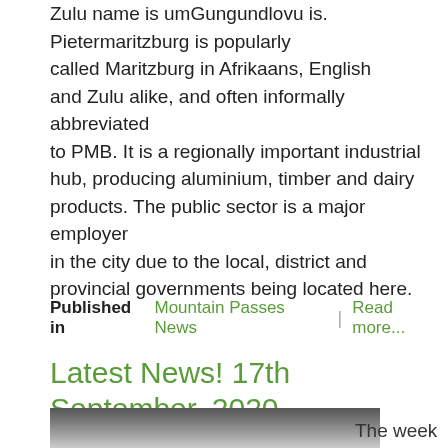Zulu name is umGungundlovu is. Pietermaritzburg is popularly called Maritzburg in Afrikaans, English and Zulu alike, and often informally abbreviated to PMB. It is a regionally important industrial hub, producing aluminium, timber and dairy products. The public sector is a major employer in the city due to the local, district and provincial governments being located here.
Published in  Mountain Passes News  |  Read more...
Latest News! 17th September, 2020.
[Figure (photo): Partial photo of a rocky mountain landscape with sky, cropped at bottom of page]
The week